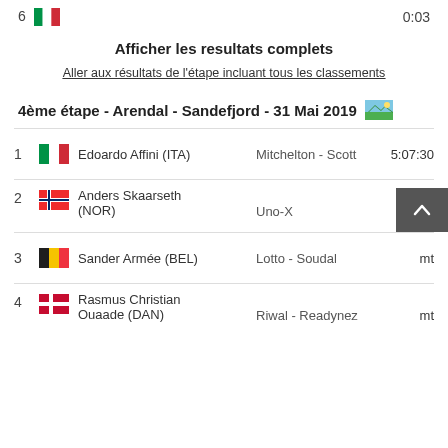6   [IT flag]   0:03
Afficher les resultats complets
Aller aux résultats de l'étape incluant tous les classements
4ème étape - Arendal - Sandefjord - 31 Mai 2019
| # | Flag | Rider | Team | Time |
| --- | --- | --- | --- | --- |
| 1 | ITA | Edoardo Affini (ITA) | Mitchelton - Scott | 5:07:30 |
| 2 | NOR | Anders Skaarseth (NOR) | Uno-X | mt |
| 3 | BEL | Sander Armée (BEL) | Lotto - Soudal | mt |
| 4 | DAN | Rasmus Christian Ouaade (DAN) | Riwal - Readynez | mt |